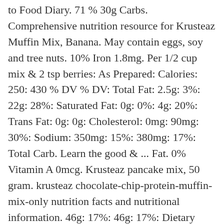to Food Diary. 71 % 30g Carbs. Comprehensive nutrition resource for Krusteaz Muffin Mix, Banana. May contain eggs, soy and tree nuts. 10% Iron 1.8mg. Per 1/2 cup mix & 2 tsp berries: As Prepared: Calories: 250: 430 % DV % DV: Total Fat: 2.5g: 3%: 22g: 28%: Saturated Fat: 0g: 0%: 4g: 20%: Trans Fat: 0g: 0g: Cholesterol: 0mg: 90mg: 30%: Sodium: 350mg: 15%: 380mg: 17%: Total Carb. Learn the good & ... Fat. 0% Vitamin A 0mcg. Krusteaz pancake mix, 50 gram. krusteaz chocolate-chip-protein-muffin-mix-only nutrition facts and nutritional information. 46g: 17%: 46g: 17%: Dietary Fiber: 3g: 11%: 3g: 11%: Total Sugars: 26g: 26g: Incl. ... Disclaimer Actual product packaging and materials may contain additional and/or different ingredient, nutritional, or proper usage information than the information displayed on our website. 150 / 2,000 cal left. 2.7% 75.9% 21.4% Protein Total Carbohydrate Total Fat 150 cal * The % Daily Value (DV) tells you how much a nutrient in a serving of food contributes to a daily diet. Added Sugars: 22g: 44%: 22g: 44%: Protein: 10g: 18%: 12g: 24%: Vitamin D: 0.4mcg: 2%: ... Gluten